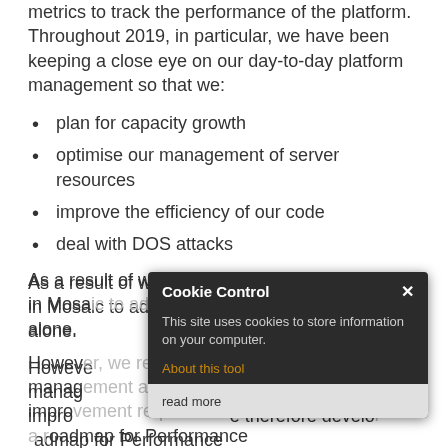metrics to track the performance of the platform. Throughout 2019, in particular, we have been keeping a close eye on our day-to-day platform management so that we:
plan for capacity growth
optimise our management of server resources
improve the efficiency of our code
deal with DOS attacks
As a result of which, we have made 20 changes in Mosaic to address performance, in 2019 alone.
However, we recognise that this day-to-day management alone will not provide the level of improvement required. We therefore developed a Roadmap for Performance
[Figure (screenshot): Cookie Control popup dialog box with dark background. Title: 'Cookie Control' with a close X button. Body text: 'This site uses cookies to store information on your computer.' Link: 'About this tool' in orange. Footer with 'read more' button on light gray background.]